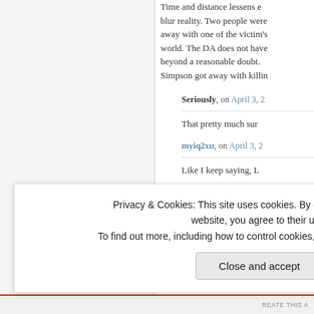Time and distance lessens emotion and can blur reality. Two people were killed. OJ got away with one of the victim's children in this world. The DA does not have to prove guilt beyond a reasonable doubt. It's a fact that OJ Simpson got away with killing two people.
Seriously, on April 3, 2... That pretty much sum...
myiq2xu, on April 3, 2... Like I keep saying, L...
Stray Yellar Dawg, on April 3, 2009 at 6:17 am... Interesting that this is happening at the sam... of a...
Privacy & Cookies: This site uses cookies. By continuing to use this website, you agree to their use.
To find out more, including how to control cookies, see here: Cookie Policy